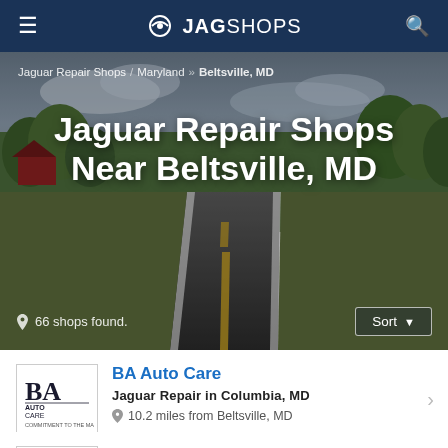JAGSHOPS
[Figure (photo): Hero image of a road in rural Maryland with green trees and fields, used as background for the page title]
Jaguar Repair Shops / Maryland / Beltsville, MD
Jaguar Repair Shops Near Beltsville, MD
66 shops found.
BA Auto Care — Jaguar Repair in Columbia, MD — 10.2 miles from Beltsville, MD
Silver Star Service Center — Jaguar Repair in Edgewater, MD — 5 Reviews — 19.9 miles from Beltsville, MD